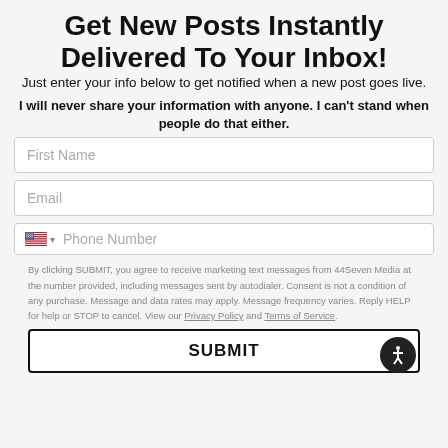Get New Posts Instantly Delivered To Your Inbox!
Just enter your info below to get notified when a new post goes live.
I will never share your information with anyone. I can't stand when people do that either.
First Name
Email
Phone Number
By clicking SUBMIT, you agree to receive marketing text messages from 44Seven Media at the number provided, including messages sent by autodialer. Consent is not a condition of any purchase. Message and data rates may apply. Message frequency varies. Reply HELP for help or STOP to cancel. View our Privacy Policy and Terms of Service.
SUBMIT